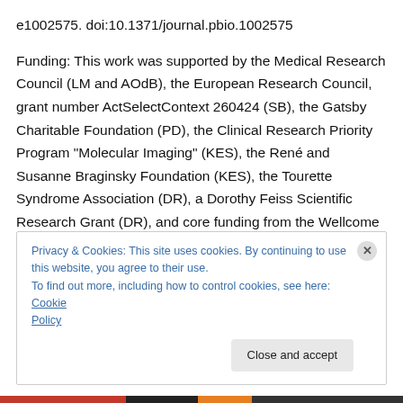e1002575. doi:10.1371/journal.pbio.1002575
Funding: This work was supported by the Medical Research Council (LM and AOdB), the European Research Council, grant number ActSelectContext 260424 (SB), the Gatsby Charitable Foundation (PD), the Clinical Research Priority Program “Molecular Imaging” (KES), the René and Susanne Braginsky Foundation (KES), the Tourette Syndrome Association (DR), a Dorothy Feiss Scientific Research Grant (DR), and core funding from the Wellcome Trust Centre for Neuroimaging (CM) and the
Privacy & Cookies: This site uses cookies. By continuing to use this website, you agree to their use.
To find out more, including how to control cookies, see here: Cookie Policy